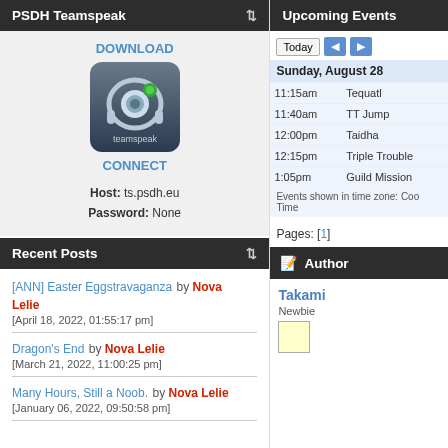PSDH Teamspeak
DOWNLOAD
CONNECT
Host: ts.psdh.eu
Password: None
Recent Posts
[ANN] Easter Eggstravaganza by Nova Lelie
[April 18, 2022, 01:55:17 pm]
Dragon's End by Nova Lelie
[March 21, 2022, 11:00:25 pm]
Many Hours, Still a Noob. by Nova Lelie
[January 06, 2022, 09:50:58 pm]
Upcoming Events
| Time | Event |
| --- | --- |
| Sunday, August 28 |  |
| 11:15am | Tequatl |
| 11:40am | TT Jump |
| 12:00pm | Taidha |
| 12:15pm | Triple Trouble |
| 1:05pm | Guild Mission |
Events shown in time zone: Coordinated Universal Time
Pages: [1]
Author
Takami
Newbie